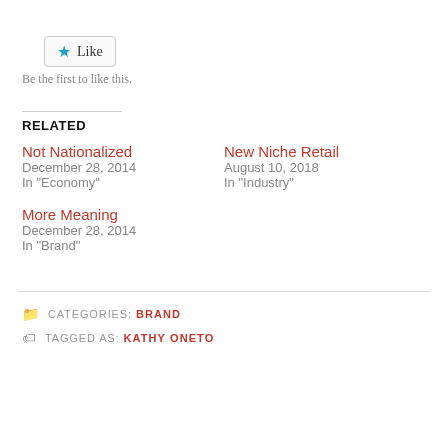[Figure (other): Like button with blue star icon and 'Like' text in a bordered box]
Be the first to like this.
RELATED
Not Nationalized
December 28, 2014
In "Economy"
New Niche Retail
August 10, 2018
In "Industry"
More Meaning
December 28, 2014
In "Brand"
CATEGORIES: BRAND
TAGGED AS: KATHY ONETO